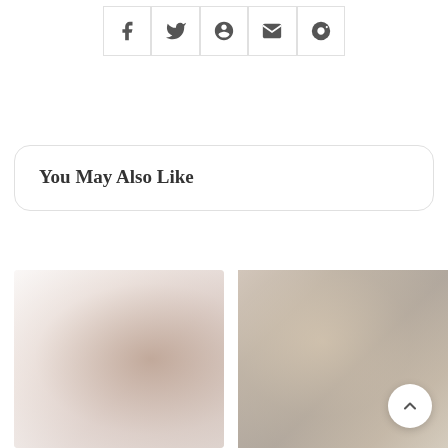[Figure (other): Social share buttons row: Facebook, Twitter, Pinterest, Email, Reddit icons in bordered square buttons]
You May Also Like
[Figure (photo): Left thumbnail: blurry photo of a person, warm muted tones]
[Figure (photo): Right thumbnail: blurry warm-toned interior/scene photo]